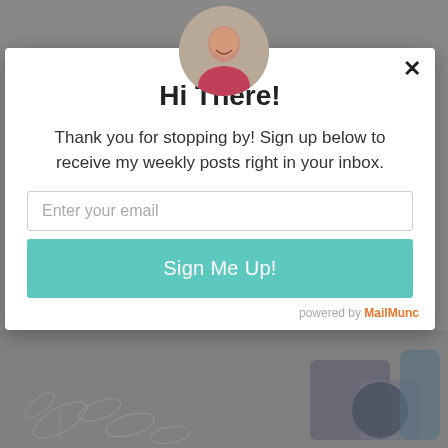[Figure (photo): Circular avatar photo of a smiling woman, positioned at the top center above the modal popup]
Hi There!
Thank you for stopping by! Sign up below to receive my weekly posts right in your inbox.
[Figure (screenshot): Email input field with placeholder text 'Enter your email']
[Figure (screenshot): Teal 'Sign Me Up!' button]
powered by MailMunc
[Figure (photo): Background scene visible below the modal showing illustrated leaves and photographic objects on a gray background]